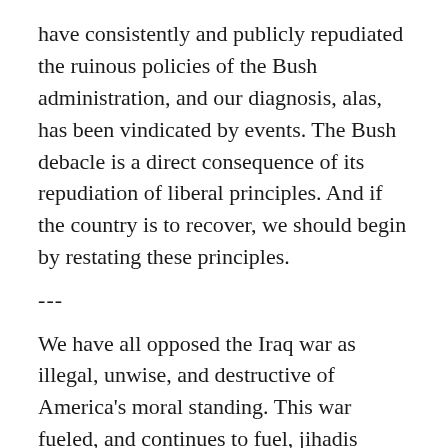have consistently and publicly repudiated the ruinous policies of the Bush administration, and our diagnosis, alas, has been vindicated by events. The Bush debacle is a direct consequence of its repudiation of liberal principles. And if the country is to recover, we should begin by restating these principles.
---
We have all opposed the Iraq war as illegal, unwise, and destructive of America's moral standing. This war fueled, and continues to fuel, jihadis whose commitment to horrific, unjustifiable violence was amply demonstrated by the September 11 attacks as well as the massacres in Spain, Indonesia, Tunisia, Great Britain, and elsewhere. Rather than making us safer, the Iraq